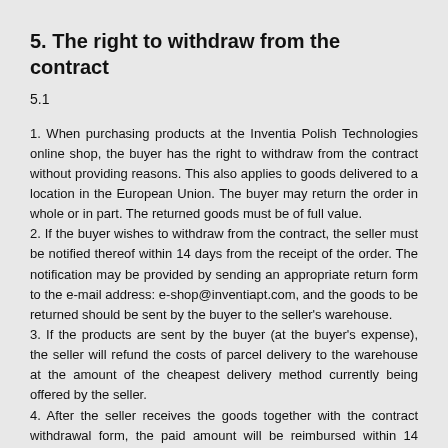5. The right to withdraw from the contract
5.1
1. When purchasing products at the Inventia Polish Technologies online shop, the buyer has the right to withdraw from the contract without providing reasons. This also applies to goods delivered to a location in the European Union. The buyer may return the order in whole or in part. The returned goods must be of full value.
2. If the buyer wishes to withdraw from the contract, the seller must be notified thereof within 14 days from the receipt of the order. The notification may be provided by sending an appropriate return form to the e-mail address: e-shop@inventiapt.com, and the goods to be returned should be sent by the buyer to the seller's warehouse.
3. If the products are sent by the buyer (at the buyer's expense), the seller will refund the costs of parcel delivery to the warehouse at the amount of the cheapest delivery method currently being offered by the seller.
4. After the seller receives the goods together with the contract withdrawal form, the paid amount will be reimbursed within 14 (fourteen) days from the receipt of the notification about